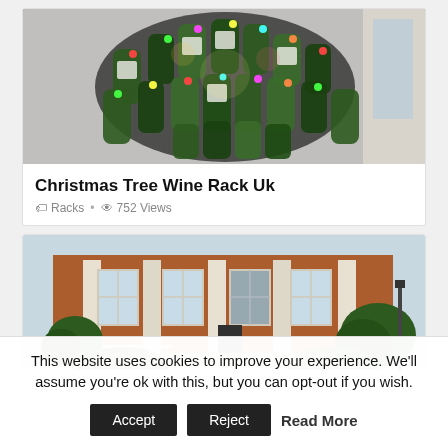[Figure (photo): Photo of a Christmas tree made from wine bottles with colorful lights]
Christmas Tree Wine Rack Uk
Racks • 752 Views
[Figure (photo): Photo of a brick building exterior with columns and trees]
This website uses cookies to improve your experience. We'll assume you're ok with this, but you can opt-out if you wish.
Accept   Reject   Read More